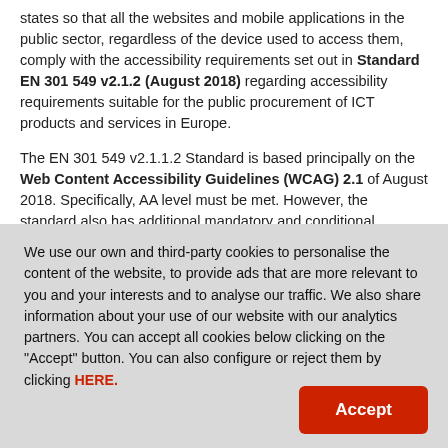states so that all the websites and mobile applications in the public sector, regardless of the device used to access them, comply with the accessibility requirements set out in Standard EN 301 549 v2.1.2 (August 2018) regarding accessibility requirements suitable for the public procurement of ICT products and services in Europe.
The EN 301 549 v2.1.1.2 Standard is based principally on the Web Content Accessibility Guidelines (WCAG) 2.1 of August 2018. Specifically, AA level must be met. However, the standard also has additional mandatory and conditional requirements.
The directive is obligatory but not directly applicable; therefore, on a
We use our own and third-party cookies to personalise the content of the website, to provide ads that are more relevant to you and your interests and to analyse our traffic. We also share information about your use of our website with our analytics partners. You can accept all cookies below clicking on the "Accept" button. You can also configure or reject them by clicking HERE.